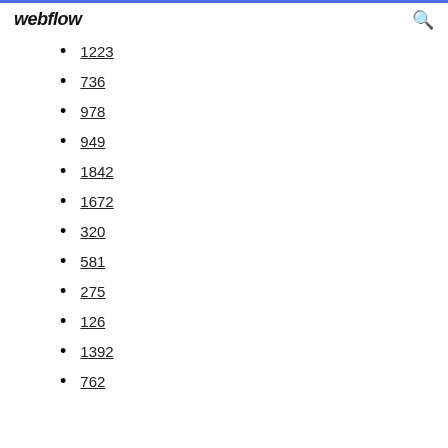webflow
1223
736
978
949
1842
1672
320
581
275
126
1392
762